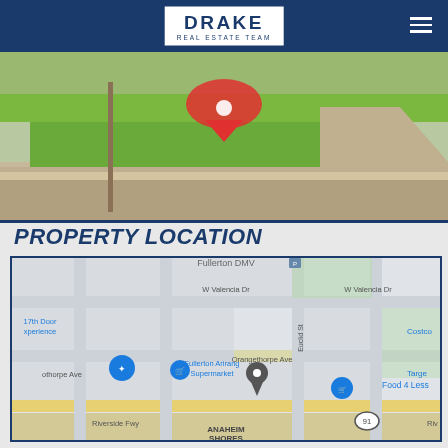[Figure (logo): Drake Real Estate Team logo in white box on dark blue nav bar]
[Figure (photo): Exterior photo of a house showing front yard with green grass, sidewalk, driveway, and white picket fence. Number 1213 visible. Red map pin overlay.]
PROPERTY LOCATION
[Figure (map): Google Maps view showing property location near Orangethorpe Ave and Euclid St in Fullerton/Anaheim area. Nearby landmarks: Fullerton DMV, Fullerton Arirang Supermarket, Food 4 Less, Costco, Target, 17th Door Experience. Streets: W Valencia Dr, Orangethorpe Ave, Riverside Fwy, Euclid St. Anaheim Shores neighborhood visible.]